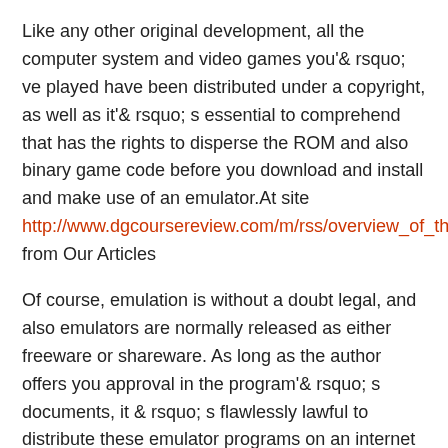Like any other original development, all the computer system and video games you'& rsquo; ve played have been distributed under a copyright, as well as it'& rsquo; s essential to comprehend that has the rights to disperse the ROM and also binary game code before you download and install and make use of an emulator.At site http://www.dgcoursereview.com/m/rss/overview_of_the from Our Articles
Of course, emulation is without a doubt legal, and also emulators are normally released as either freeware or shareware. As long as the author offers you approval in the program'& rsquo; s documents, it & rsquo; s flawlessly lawful to distribute these emulator programs on an internet site or e-mail an emulator to a pal.